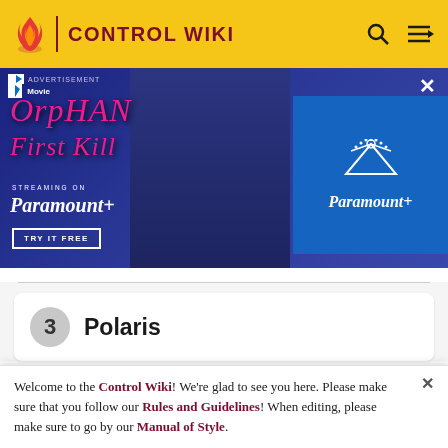CONTROL WIKI
[Figure (screenshot): Advertisement banner for Orphan: First Kill streaming on Paramount+. Shows movie title in pink text, a dark-haired girl character, and Paramount+ logo on blue background.]
3  Polaris
[Figure (photo): Partial image strip showing game characters/scenes]
Welcome to the Control Wiki! We're glad to see you here. Please make sure that you follow our Rules and Guidelines! When editing, please make sure to go by our Manual of Style.